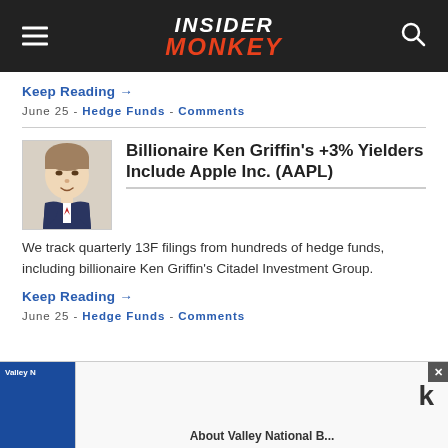INSIDER MONKEY
Keep Reading →
June 25 - Hedge Funds - Comments
Billionaire Ken Griffin's +3% Yielders Include Apple Inc. (AAPL)
We track quarterly 13F filings from hundreds of hedge funds, including billionaire Ken Griffin's Citadel Investment Group.
Keep Reading →
June 25 - Hedge Funds - Comments
[Figure (other): Screenshot of Insider Monkey website article listing page showing articles about hedge funds and billionaire investors. Bottom portion shows partial advertisement/article teaser for Valley National Bank.]